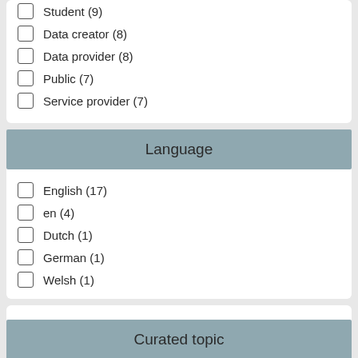Student (9)
Data creator (8)
Data provider (8)
Public (7)
Service provider (7)
Language
English (17)
en (4)
Dutch (1)
German (1)
Welsh (1)
Curated topic